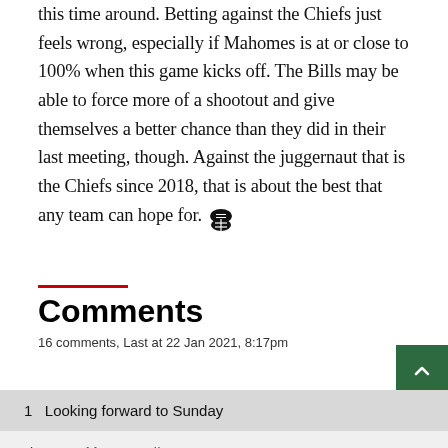this time around. Betting against the Chiefs just feels wrong, especially if Mahomes is at or close to 100% when this game kicks off. The Bills may be able to force more of a shootout and give themselves a better chance than they did in their last meeting, though. Against the juggernaut that is the Chiefs since 2018, that is about the best that any team can hope for.
Comments
16 comments, Last at 22 Jan 2021, 8:17pm
1  Looking forward to Sunday
by Tutenkharnage // Jan 21, 2021 - 1:04pm